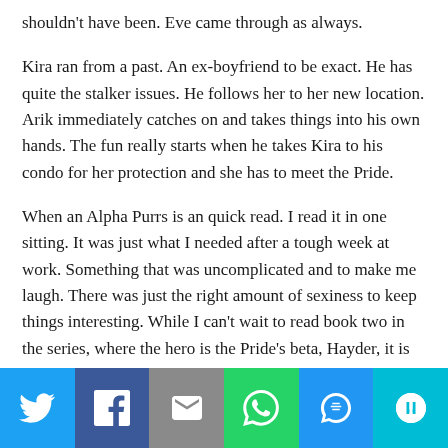shouldn't have been. Eve came through as always.
Kira ran from a past. An ex-boyfriend to be exact. He has quite the stalker issues. He follows her to her new location. Arik immediately catches on and takes things into his own hands. The fun really starts when he takes Kira to his condo for her protection and she has to meet the Pride.
When an Alpha Purrs is an quick read. I read it in one sitting. It was just what I needed after a tough week at work. Something that was uncomplicated and to make me laugh. There was just the right amount of sexiness to keep things interesting. While I can't wait to read book two in the series, where the hero is the Pride's beta, Hayder, it is book three about the Pride's omega, Leo, that has me chomping at the bit.
[Figure (infographic): Social sharing bar with six buttons: Twitter (blue bird icon), Facebook (dark blue f icon), Email (grey envelope icon), WhatsApp (green phone icon), SMS (blue SMS badge icon), More (teal circular arrow icon).]